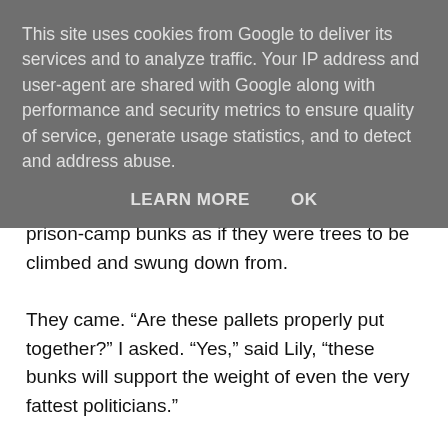This site uses cookies from Google to deliver its services and to analyze traffic. Your IP address and user-agent are shared with Google along with performance and security metrics to ensure quality of service, generate usage statistics, and to detect and address abuse.
LEARN MORE    OK
prison-camp bunks as if they were trees to be climbed and swung down from.
They came. “Are these pallets properly put together?” I asked. “Yes,” said Lily, “these bunks will support the weight of even the very fattest politicians.”
Satisfied, I said to Michael, “Please sign acceptance.”
He held out the clipboard to me. “You can sign this. Acceptance of delivery is always delayed for four Garut’nim weeks. By which time, your signature will be on the formal records.”
I signed. The octopus sent, “I thank you. When we deal with